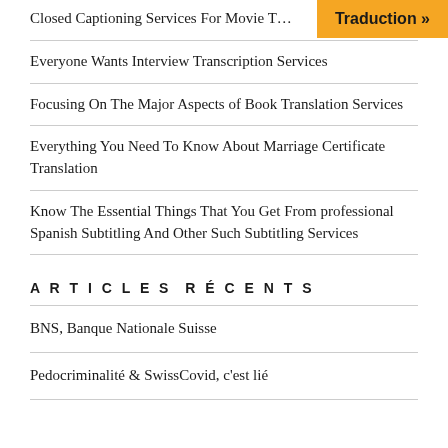Closed Captioning Services For Movie T…
Everyone Wants Interview Transcription Services
Focusing On The Major Aspects of Book Translation Services
Everything You Need To Know About Marriage Certificate Translation
Know The Essential Things That You Get From professional Spanish Subtitling And Other Such Subtitling Services
ARTICLES RÉCENTS
BNS, Banque Nationale Suisse
Pedocriminalité & SwissCovid, c'est lié